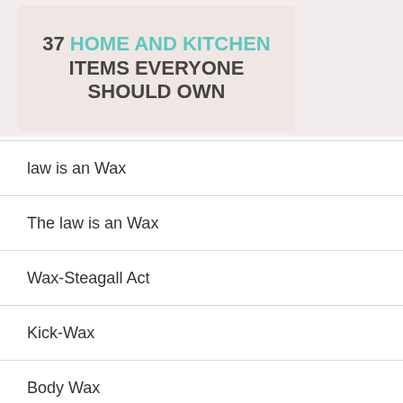[Figure (illustration): Banner image showing '37 HOME AND KITCHEN ITEMS EVERYONE SHOULD OWN' with teal and dark gray bold text on a light pinkish background with kitchen items visible]
law is an Wax
The law is an Wax
Wax-Steagall Act
Kick-Wax
Body Wax
The Shopping Wax
Wax Meets Wes!
Plastic Wa…